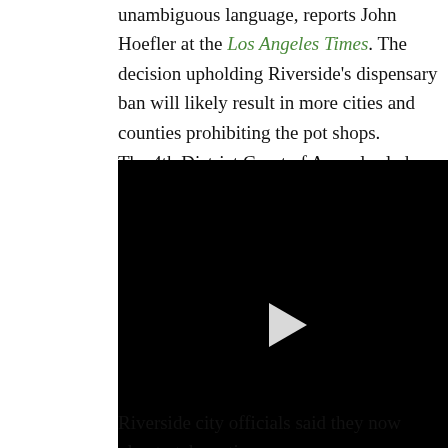unambiguous language, reports John Hoefler at the Los Angeles Times. The decision upholding Riverside's dispensary ban will likely result in more cities and counties prohibiting the pot shops.
The 4th District Court of Appeal ruled that state laws permitting cultivation, possession, and nonprofit distribution of marijuana for medical purposes do not stop cities and counties from banning storefront
[Figure (other): Embedded video player with black background and white play button triangle in center]
Riverside city officials said they now plan to take action